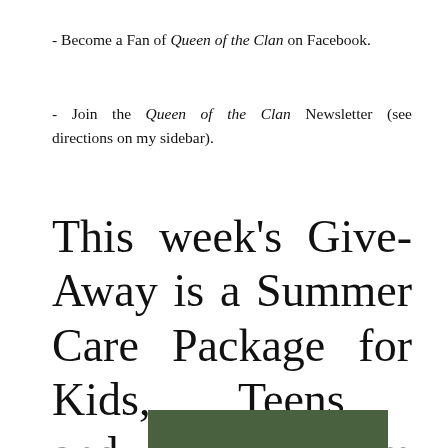- Become a Fan of Queen of the Clan on Facebook.
- Join the Queen of the Clan Newsletter (see directions on my sidebar).
This week's Give-Away is a Summer Care Package for Kids, Teens, and Mom donated by Tristi Pinkston and Queen of the Clan.
[Figure (other): Green rectangular bar at the bottom of the page]